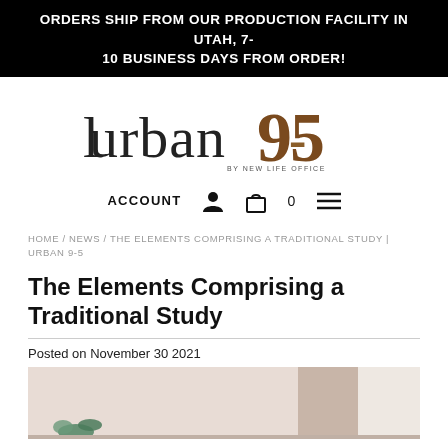ORDERS SHIP FROM OUR PRODUCTION FACILITY IN UTAH, 7-10 BUSINESS DAYS FROM ORDER!
[Figure (logo): Urban 9-5 by New Life Office logo — stylized text with decorative numeral 9-5]
ACCOUNT  0
HOME / NEWS / THE ELEMENTS COMPRISING A TRADITIONAL STUDY | URBAN 9-5
The Elements Comprising a Traditional Study
Posted on November 30 2021
[Figure (photo): Photo of a traditional study room with warm beige tones, a green decorative object visible at bottom left]